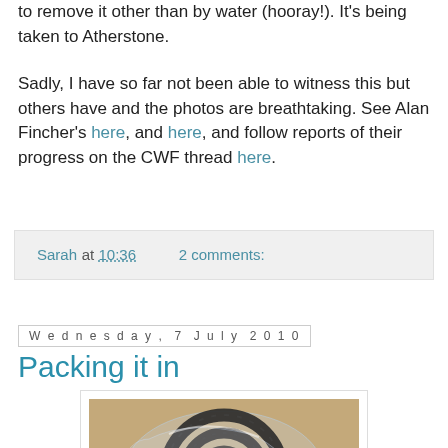to remove it other than by water (hooray!). It's being taken to Atherstone.
Sadly, I have so far not been able to witness this but others have and the photos are breathtaking. See Alan Fincher's here, and here, and follow reports of their progress on the CWF thread here.
Sarah at 10:36    2 comments:
Wednesday, 7 July 2010
Packing it in
[Figure (photo): A coiled black rope or cable inside a clear plastic bag, photographed on a beige/brown textured surface.]